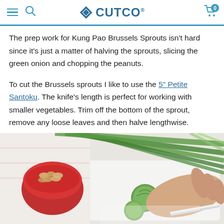CUTCO.
The prep work for Kung Pao Brussels Sprouts isn't hard since it's just a matter of halving the sprouts, slicing the green onion and chopping the peanuts.
To cut the Brussels sprouts I like to use the 5" Petite Santoku. The knife's length is perfect for working with smaller vegetables. Trim off the bottom of the sprout, remove any loose leaves and then halve lengthwise.
[Figure (photo): Photo of hands cutting Brussels sprouts on a white cutting board, with green onions and a red bowl of chopped peanuts in the background.]